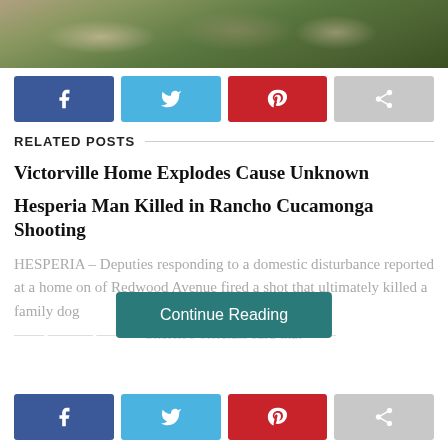[Figure (photo): Partial photo of a dog lying on green grass, top portion visible]
[Figure (infographic): Social share buttons: Facebook (blue), Twitter (light blue), Pinterest (red), Share (gray)]
RELATED POSTS
Victorville Home Explodes Cause Unknown
Hesperia Man Killed in Rancho Cucamonga Shooting
HESPERIA – Deputies responding to a domestic disturbance repo... of Redwood Avenue fired a shot that ultimately killed a family dog ...
Continue Reading
[Figure (infographic): Social share buttons at bottom: Facebook (blue), Twitter (light blue), Pinterest (red), Share (gray)]